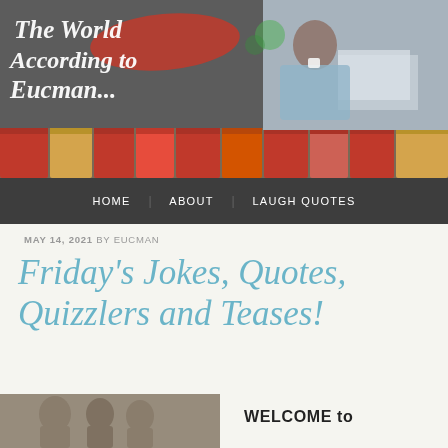[Figure (screenshot): Blog header banner with dark gray background, book spines along the bottom, cursive white logo text 'The World According to Eucman...' with red brush stroke, and photo of a man drinking coffee at a desk on the right side]
HOME   ABOUT   LAUGH QUOTES
MAY 14, 2021 BY EUCMAN
Friday's Jokes, Quotes, Quizzlers and Teases!
[Figure (photo): Group of people photo at bottom left]
WELCOME to